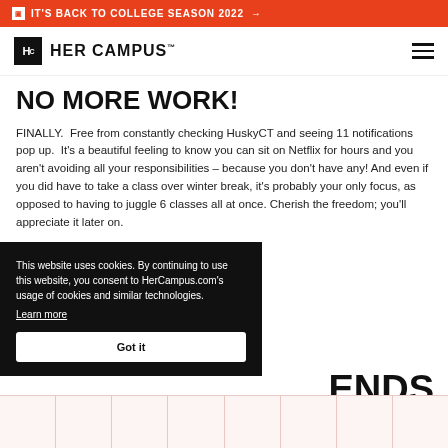IT'S BACK TO COLLEGE SEASON 2022 →
[Figure (logo): Her Campus logo with Hc icon and wordmark]
NO MORE WORK!
FINALLY.  Free from constantly checking HuskyCT and seeing 11 notifications pop up.  It's a beautiful feeling to know you can sit on Netflix for hours and you aren't avoiding all your responsibilities – because you don't have any! And even if you did have to take a class over winter break, it's probably your only focus, as opposed to having to juggle 6 classes all at once. Cherish the freedom; you'll appreciate it later on.
This website uses cookies. By continuing to use this website, you consent to HerCampus.com's usage of cookies and similar technologies. Learn more Got it